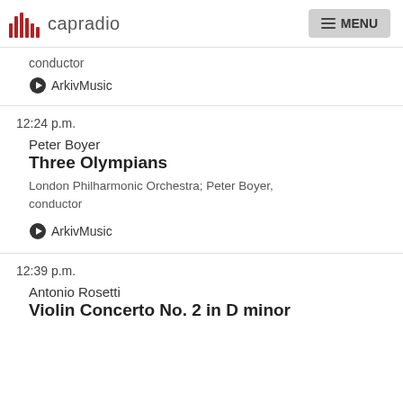capradio | MENU
conductor
ArkivMusic
12:24 p.m.
Peter Boyer
Three Olympians
London Philharmonic Orchestra; Peter Boyer, conductor
ArkivMusic
12:39 p.m.
Antonio Rosetti
Violin Concerto No. 2 in D minor